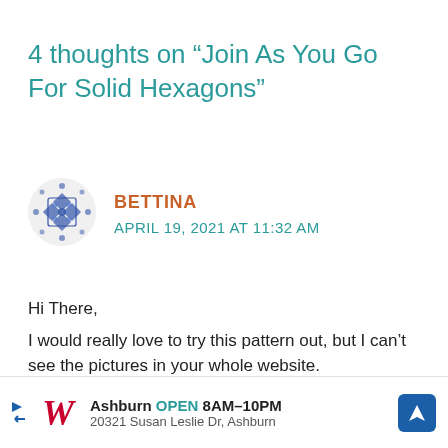4 thoughts on “Join As You Go For Solid Hexagons”
[Figure (illustration): Avatar icon showing a decorative pattern with blue dots and diamond shapes on a circular background]
BETTINA
APRIL 19, 2021 AT 11:32 AM
Hi There,
I would really love to try this pattern out, but I can’t see the pictures in your whole website.
[Figure (screenshot): Walgreens advertisement banner showing: Ashburn OPEN 8AM-10PM, 20321 Susan Leslie Dr, Ashburn, with Walgreens logo and navigation arrow icon]